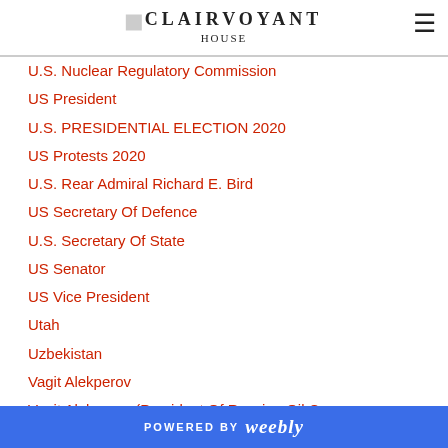CLAIRVOYANT
U.S. Nuclear Regulatory Commission
US President
U.S. PRESIDENTIAL ELECTION 2020
US Protests 2020
U.S. Rear Admiral Richard E. Bird
US Secretary Of Defence
U.S. Secretary Of State
US Senator
US Vice President
Utah
Uzbekistan
Vagit Alekperov
Vagit Alekperov (President Of Russian Oil Company LUKOIL)
POWERED BY weebly